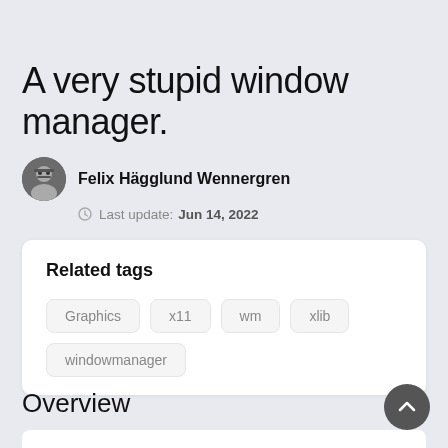A very stupid window manager.
Felix Hägglund Wennergren
Last update: Jun 14, 2022
Related tags
Graphics
x11
wm
xlib
windowmanager
Overview